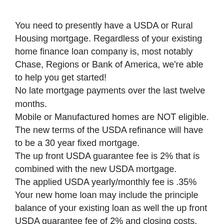You need to presently have a USDA or Rural Housing mortgage. Regardless of your existing home finance loan company is, most notably Chase, Regions or Bank of America, we're able to help you get started!
No late mortgage payments over the last twelve months.
Mobile or Manufactured homes are NOT eligible.
The new terms of the USDA refinance will have to be a 30 year fixed mortgage.
The up front USDA guarantee fee is 2% that is combined with the new USDA mortgage.
The applied USDA yearly/monthly fee is .35%
Your new home loan may include the principle balance of your existing loan as well the up front USDA guarantee fee of 2% and closing costs.
No cash out is authorized using the USDA loan